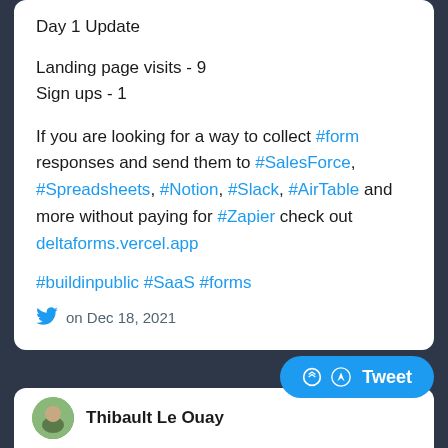Day 1 Update
Landing page visits - 9
Sign ups - 1
If you are looking for a way to collect #form responses and send them to #SalesForce, #Spreadsheets, #Notion, #Slack, #AirTable and more without paying for #Zapier check out deltaforms.vercel.app
#buildinpublic #SaaS #forms
on Dec 18, 2021
Thibault Le Ouay